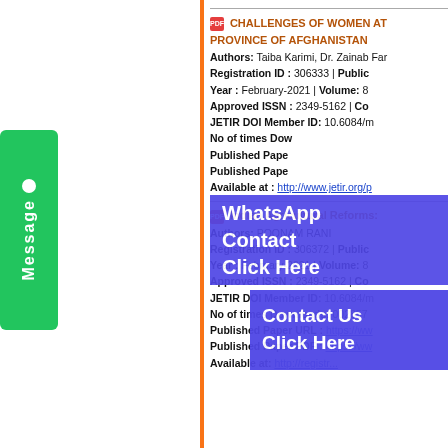[Figure (other): Green vertical Message button on the left side of the page]
CHALLENGES OF WOMEN AT PROVINCE OF AFGHANISTAN
Authors: Taiba Karimi, Dr. Zainab Far...
Registration ID : 306333 | Public...
Year : February-2021 | Volume: 8
Approved ISSN : 2349-5162 | Co...
JETIR DOI Member ID: 10.6084/m...
No of times Dow...
Published Pape...
Published Pape...
Available at : http://www.jetir.org/p...
[Figure (other): Blue/indigo WhatsApp Contact Click Here overlay banner]
[Figure (other): Blue/indigo Contact Us Click Here overlay banner]
Indian Agricultural Reforms: ...
Authors: POONAM RANI
Registration ID : 306372 | Public...
Year : February-2021 | Volume: 8
Approved ISSN : 2349-5162 | Co...
JETIR DOI Member ID: 10.6084/m...
No of times Downloads: 002857
Published Paper URL : https://ww...
Published Paper PDF : https://ww...
Available at: http://...